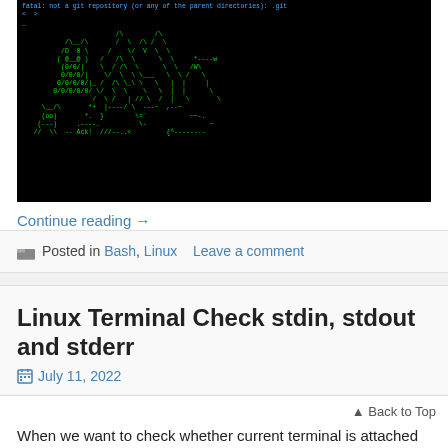[Figure (screenshot): Terminal window showing a git error message and ASCII art of cats made with characters in green color on black background]
Continue reading →
Posted in Bash, Linux   Leave a comment
Linux Terminal Check stdin, stdout and stderr
July 11, 2022
Back to Top
When we want to check whether current terminal is attached